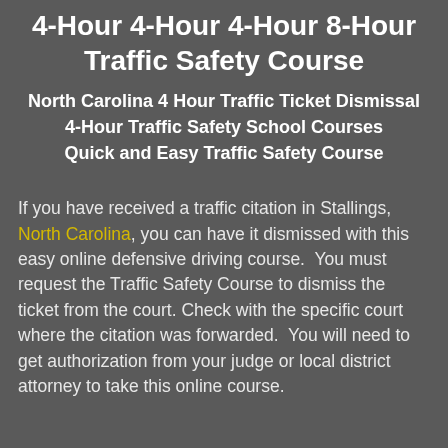4-Hour 4-Hour 4-Hour 8-Hour Traffic Safety Course
North Carolina 4 Hour Traffic Ticket Dismissal
4-Hour Traffic Safety School Courses
Quick and Easy Traffic Safety Course
If you have received a traffic citation in Stallings, North Carolina, you can have it dismissed with this easy online defensive driving course.  You must request the Traffic Safety Course to dismiss the ticket from the court. Check with the specific court where the citation was forwarded.  You will need to get authorization from your judge or local district attorney to take this online course.